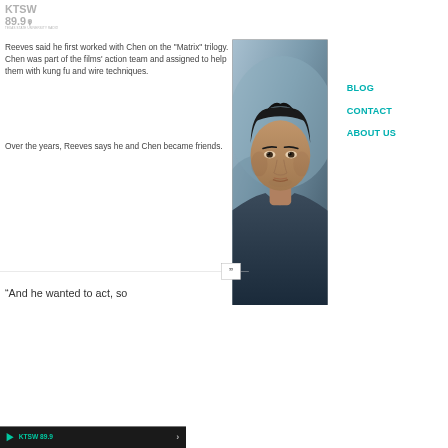KTSW 89.9
Reeves said he first worked with Chen on the “Matrix” trilogy. Chen was part of the films’ action team and assigned to help them with kung fu and wire techniques.
Over the years, Reeves says he and Chen became friends.
[Figure (photo): Close-up photo of a dark-haired man in a dark jacket looking sideways, likely Keanu Reeves]
BLOG
CONTACT
ABOUT US
“And he wanted to act, so
KTSW 89.9